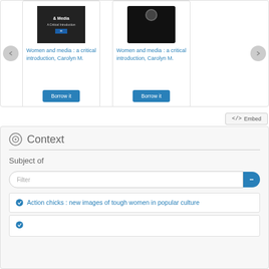[Figure (screenshot): Library search results showing two book cards for 'Women and media: a critical introduction, Carolyn M.' with Borrow it buttons and navigation arrows]
Women and
media : a critical
introduction,
Carolyn M.
Borrow it
Women and
media : a critical
introduction,
Carolyn M.
Borrow it
</> Embed
Context
Subject of
Filter
Action chicks : new images of tough women in popular culture